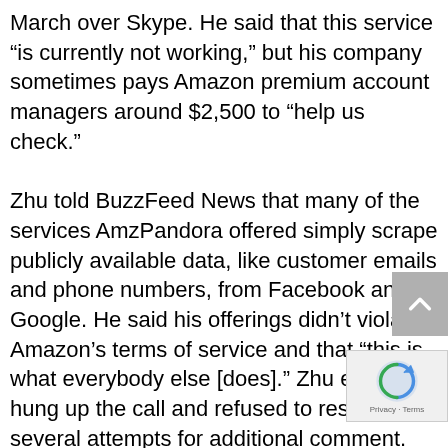March over Skype. He said that this service “is currently not working,” but his company sometimes pays Amazon premium account managers around $2,500 to “help us check.”
Zhu told BuzzFeed News that many of the services AmzPandora offered simply scrape publicly available data, like customer emails and phone numbers, from Facebook and Google. He said his offerings didn’t violate Amazon’s terms of service and that “this is what everybody else [does].” Zhu eventually hung up the call and refused to respond to several attempts for additional comment.
“The bad actors that offer these underhanded services and those who purchase them show a flagrant d for our community, our policies, and, in some ca law, and do not reflect the flourishing community of